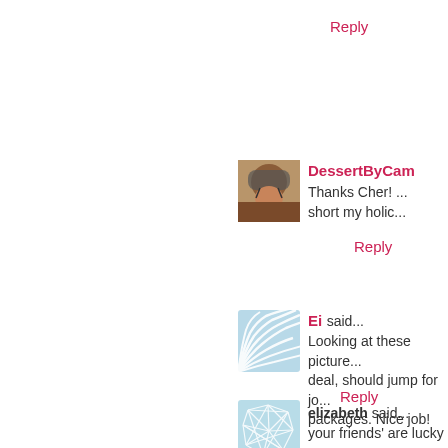Reply
[Figure (photo): Profile photo of DessertByCam user — person wearing a cycling helmet]
DessertByCam
Thanks Cher! ... short my holi...
Reply
[Figure (illustration): Light blue square illustration with white fan/shell pattern — avatar for user Ei]
Ei said...
Looking at these picture... deal, should jump for jo... packages. Nice job!
Reply
[Figure (illustration): Light blue square illustration with white geometric network/web pattern — avatar for user elizabeth]
elizabeth said...
your friends' are lucky t... with such visually appea...